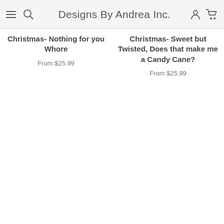Designs By Andrea Inc.
Christmas- Nothing for you Whore
From $25.99
Christmas- Sweet but Twisted, Does that make me a Candy Cane?
From $25.99